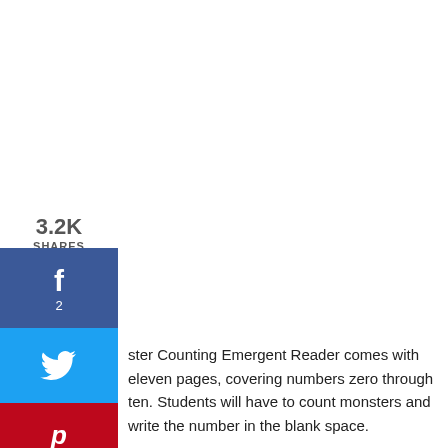3.2K
SHARES
ster Counting Emergent Reader comes with eleven pages, covering numbers zero through ten. Students will have to count monsters and write the number in the blank space.
[Figure (photo): Worksheet preview strips showing monster counting emergent reader pages with 'I see ___ monsters' blanks and cartoon monster illustrations]
We use cookies to ensure that we give you the best experience on our website. If you continue to use this site we will assume that you are happy with it.